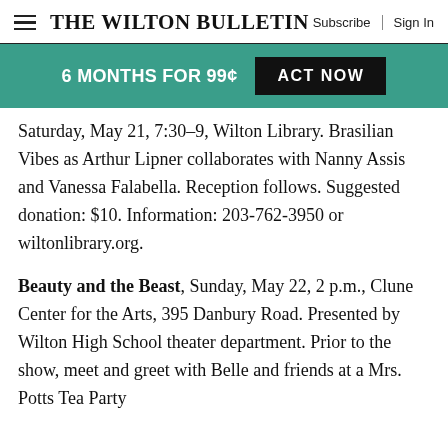The Wilton Bulletin | Subscribe | Sign In
[Figure (infographic): Teal promotional banner: '6 MONTHS FOR 99¢' with black 'ACT NOW' button]
Saturday, May 21, 7:30–9, Wilton Library. Brasilian Vibes as Arthur Lipner collaborates with Nanny Assis and Vanessa Falabella. Reception follows. Suggested donation: $10. Information: 203-762-3950 or wiltonlibrary.org.
Beauty and the Beast, Sunday, May 22, 2 p.m., Clune Center for the Arts, 395 Danbury Road. Presented by Wilton High School theater department. Prior to the show, meet and greet with Belle and friends at a Mrs. Potts Tea Party